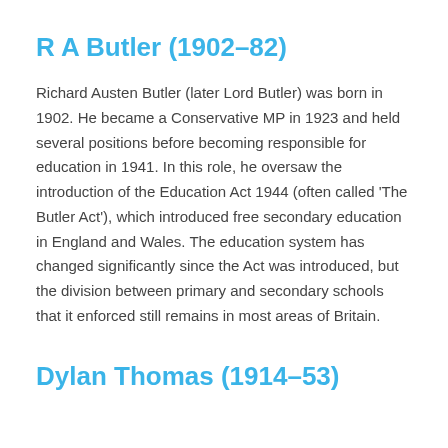R A Butler (1902–82)
Richard Austen Butler (later Lord Butler) was born in 1902. He became a Conservative MP in 1923 and held several positions before becoming responsible for education in 1941. In this role, he oversaw the introduction of the Education Act 1944 (often called ‘The Butler Act’), which introduced free secondary education in England and Wales. The education system has changed significantly since the Act was introduced, but the division between primary and secondary schools that it enforced still remains in most areas of Britain.
Dylan Thomas (1914–53)